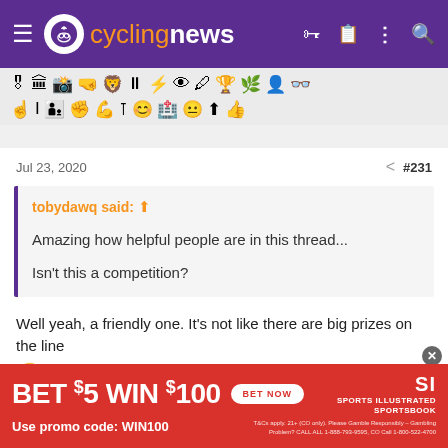cyclingnews
[Figure (screenshot): Toolbar row with various emoji/icon symbols for text formatting and reactions]
Jul 23, 2020  #231
tobydawq said: ↑

Amazing how helpful people are in this thread...

Isn't this a competition?
Well yeah, a friendly one. It's not like there are big prizes on the line 🙂
[Figure (screenshot): Advertisement banner: BET $5 WIN $100 Use promo code: WIN100 - Sports Illustrated Sportsbook BET NOW button]